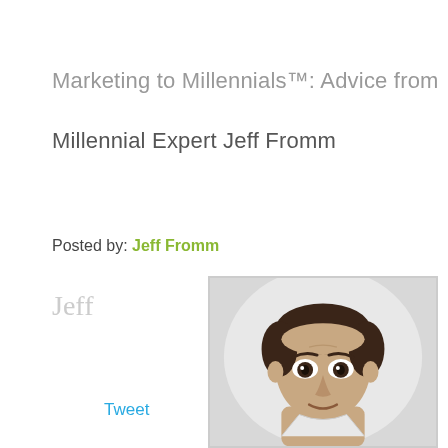Marketing to Millennials™: Advice from Millennial Expert Jeff Fromm
Tweet
Posted by: Jeff Fromm
Jeff
[Figure (photo): Portrait photo of Jeff Fromm, a middle-aged man with dark brown hair, wide eyes, and a slight expression of surprise, photographed against a light gray background, shown from the shoulders up inside a framed box.]